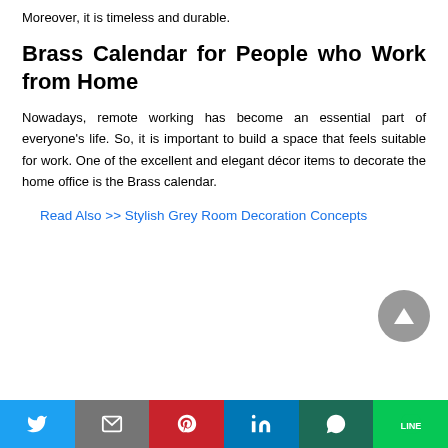Moreover, it is timeless and durable.
Brass Calendar for People who Work from Home
Nowadays, remote working has become an essential part of everyone's life. So, it is important to build a space that feels suitable for work. One of the excellent and elegant décor items to decorate the home office is the Brass calendar.
Read Also >> Stylish Grey Room Decoration Concepts